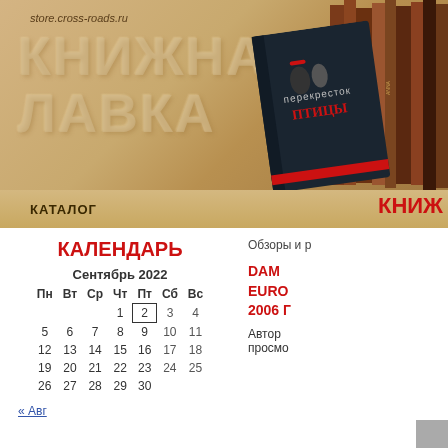[Figure (screenshot): Website banner for Russian bookstore 'Knizhnaya Lavka' (Book Shop) at store.cross-roads.ru, showing large Cyrillic title text on tan/beige background with books and a dark book cover showing 'Perekrestok Ptitsy']
store.cross-roads.ru
КНИЖНАЯ ЛАВКА
КАТАЛОГ
КНИЖ
КАЛЕНДАРЬ
Обзоры и р
| Пн | Вт | Ср | Чт | Пт | Сб | Вс |
| --- | --- | --- | --- | --- | --- | --- |
|  |  |  | 1 | 2 | 3 | 4 |
| 5 | 6 | 7 | 8 | 9 | 10 | 11 |
| 12 | 13 | 14 | 15 | 16 | 17 | 18 |
| 19 | 20 | 21 | 22 | 23 | 24 | 25 |
| 26 | 27 | 28 | 29 | 30 |  |  |
« Авг
DAM 
EURO
2006 Г
Автор
просмо